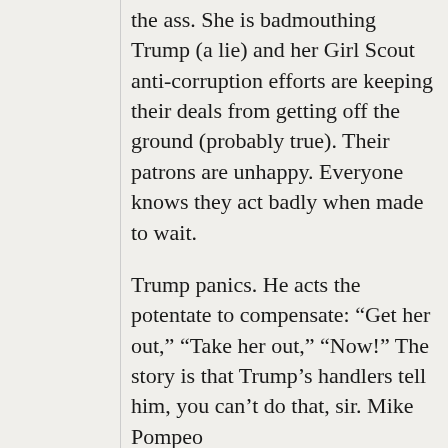the ass. She is badmouthing Trump (a lie) and her Girl Scout anti-corruption efforts are keeping their deals from getting off the ground (probably true). Their patrons are unhappy. Everyone knows they act badly when made to wait.
Trump panics. He acts the potentate to compensate: “Get her out,” “Take her out,” “Now!” The story is that Trump’s handlers tell him, you can’t do that, sir. Mike Pompeo couldn’t be confirmed at...